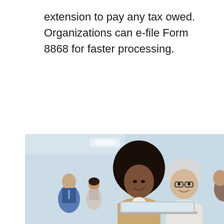extension to pay any tax owed. Organizations can e-file Form 8868 for faster processing.
[Figure (photo): Office scene with two smiling professionals (a young Black woman with curly hair and an older white-haired man with glasses) looking at a laptop together; two other professionals visible in the background in an office setting.]